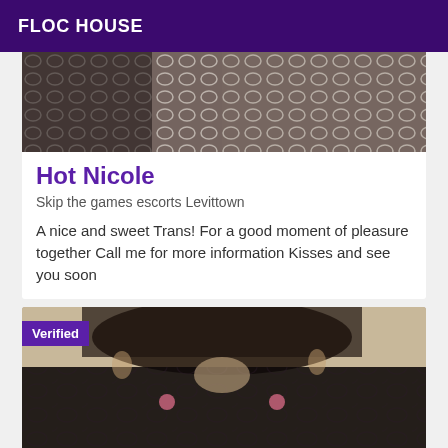FLOC HOUSE
[Figure (photo): Partial photo showing fishnet/mesh fabric pattern in dark tones, cropped person]
Hot Nicole
Skip the games escorts Levittown
A nice and sweet Trans! For a good moment of pleasure together Call me for more information Kisses and see you soon
[Figure (photo): Close-up photo of person wearing black lace lingerie, face partially obscured, with a 'Verified' badge overlay]